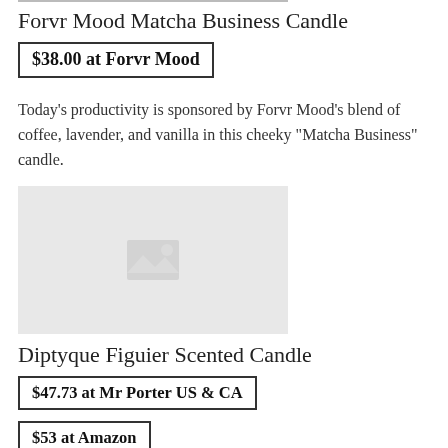Forvr Mood Matcha Business Candle
$38.00 at Forvr Mood
Today's productivity is sponsored by Forvr Mood's blend of coffee, lavender, and vanilla in this cheeky "Matcha Business" candle.
[Figure (photo): Product image placeholder for Diptyque Figuier Scented Candle]
Diptyque Figuier Scented Candle
$47.73 at Mr Porter US & CA
$53 at Amazon
$70 at Bergdorf Goodman
Every candle hoarder has heard of the famous Diptyque candles, but few have actually made the investment into one of the bigger sizes with five wicks, handmade